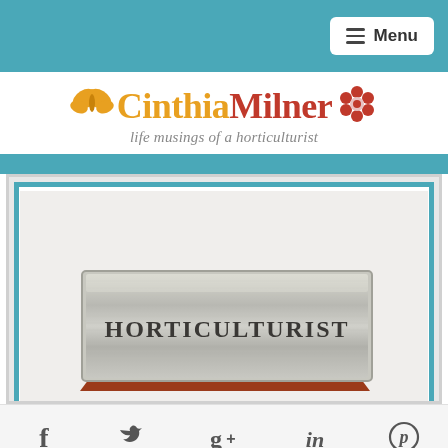Menu
[Figure (logo): Cinthia Milner blog logo with butterfly and flower decorations, tagline: life musings of a horticulturist]
[Figure (photo): A desk name plate with terracotta/red wooden base holding a brushed silver metal plate engraved with the word HORTICULTURIST in bold serif capital letters]
[Figure (infographic): Social media icons row: Facebook (f), Twitter (bird), Google+ (g+), LinkedIn (in), Pinterest (p circle)]